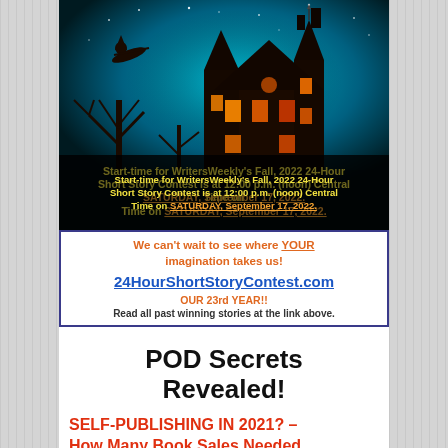[Figure (illustration): Spooky haunted house at night with teal sky, bare trees, witch flying on broom, with orange text overlay about WritersWeekly Fall 2022 24-Hour Short Story Contest starting at noon Central Time on Saturday September 17 2022, and a white box below with contest details]
We can't wait to see where YOUR imagination takes us!
24HourShortStoryContest.com
OUR 23rd YEAR!!
Read all past winning stories at the link above.
POD Secrets Revealed!
SELF-PUBLISHING IN 2021? – How Many Book Sales Needed to Recoup Your Investment?
UPDATED: 02/04/2021 EDITOR'S NOTE: